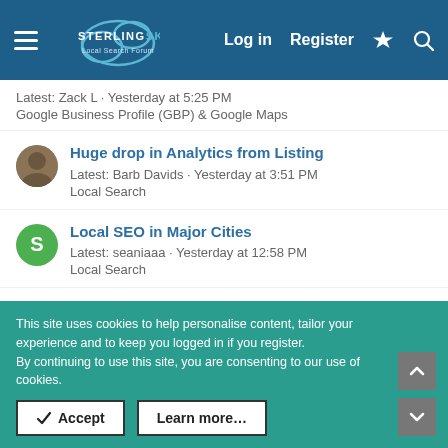Sterling Sky Local Search Forum — Log in | Register
Latest: Zack L · Yesterday at 5:25 PM
Google Business Profile (GBP) & Google Maps
Huge drop in Analytics from Listing — Latest: Barb Davids · Yesterday at 3:51 PM — Local Search
Local SEO in Major Cities — Latest: seaniaaa · Yesterday at 12:58 PM — Local Search
Google has Disabled a business that does not seem to have anything wrong. — Latest: Santi1077 · Yesterday at 11:30 AM — Help & Support for Google Local
This site uses cookies to help personalise content, tailor your experience and to keep you logged in if you register.
By continuing to use this site, you are consenting to our use of cookies.